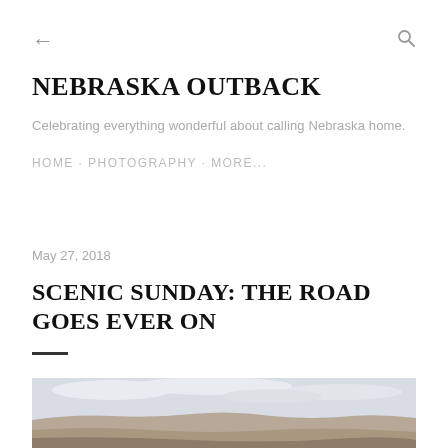← (back) Q (search)
NEBRASKA OUTBACK
Celebrating everything wonderful about calling Nebraska home.
HOME · PHOTOGRAPHY · MORE...
May 27, 2018
SCENIC SUNDAY: THE ROAD GOES EVER ON
[Figure (photo): Landscape photograph showing rolling hills or buttes with brown/tan terrain under a partly cloudy blue-grey sky, typical of Nebraska outback scenery.]